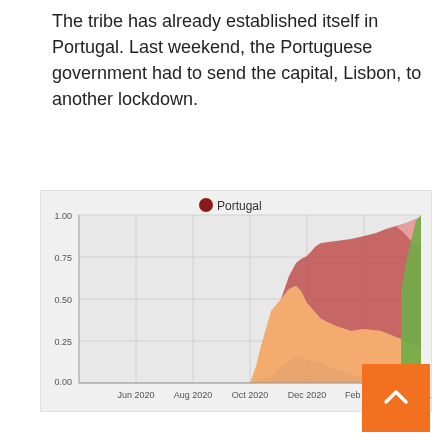The tribe has already established itself in Portugal. Last weekend, the Portuguese government had to send the capital, Lisbon, to another lockdown.
[Figure (area-chart): Stacked area chart showing variant proportions in Portugal over time from Jun 2020 to Apr 2021. Y-axis from 0.00 to 1.00. Multiple colored areas representing different variants: orange/salmon (dominant variant expanding from Oct 2020), dark red, light pink, blue, light blue, and green (appearing at far right near Apr-May 2021).]